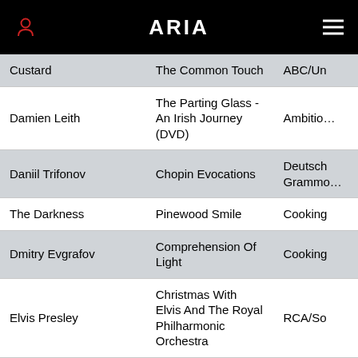ARIA
| Artist | Album | Label |
| --- | --- | --- |
| Custard | The Common Touch | ABC/Un… |
| Damien Leith | The Parting Glass - An Irish Journey (DVD) | Ambitio… |
| Daniil Trifonov | Chopin Evocations | Deutsch Grammo… |
| The Darkness | Pinewood Smile | Cooking… |
| Dmitry Evgrafov | Comprehension Of Light | Cooking… |
| Elvis Presley | Christmas With Elvis And The Royal Philharmonic Orchestra | RCA/So… |
| Filous | For Love EP | Ultra Re… |